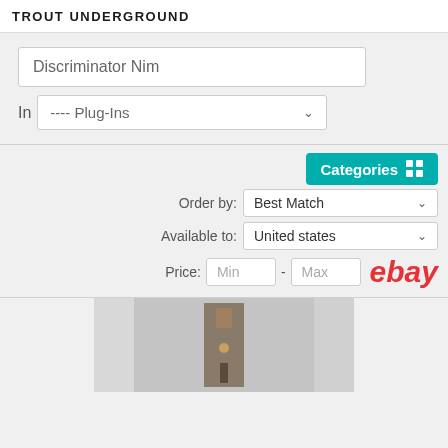TROUT UNDERGROUND
Discriminator Nim
In ---- Plug-Ins
Categories
Order by: Best Match
Available to: United states
Price: Min - Max
[Figure (photo): Product photo showing a vertical electronic component or device mounted on a wall or surface]